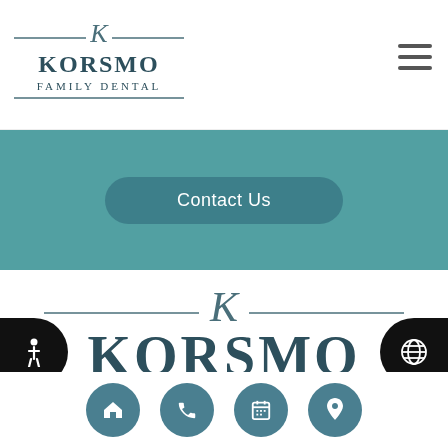[Figure (logo): Korsmo Family Dental small logo in header with K monogram and horizontal lines]
[Figure (logo): Hamburger menu icon (three horizontal lines) in top right]
Contact Us
[Figure (logo): Korsmo Family Dental large logo centered — K monogram with decorative lines, KORSMO in large bold text, FAMILY DENTAL below]
https://www.korsmofamilydental.com
[Figure (infographic): Bottom navigation bar with four teal circular icons: home, phone, calendar, map pin. Plus left accessibility icon and right globe icon.]